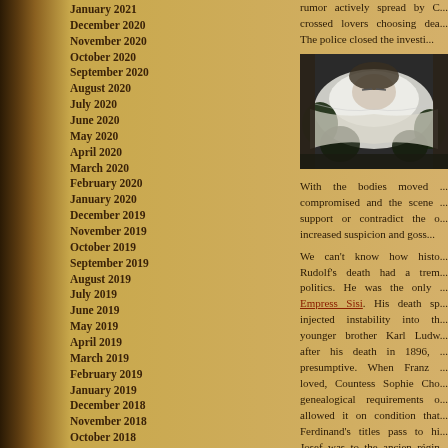January 2021
December 2020
November 2020
October 2020
September 2020
August 2020
July 2020
June 2020
May 2020
April 2020
March 2020
February 2020
January 2020
December 2019
November 2019
October 2019
September 2019
August 2019
July 2019
June 2019
May 2019
April 2019
March 2019
February 2019
January 2019
December 2018
November 2018
October 2018
September 2018
August 2018
July 2018
June 2018
rumor actively spread by C... crossed lovers choosing dea... The police closed the investi...
[Figure (photo): Black and white photograph of a person lying in repose, surrounded by flowers, appearing to be a funeral or death scene]
With the bodies moved ... compromised and the scene ... support or contradict the o... increased suspicion and goss...
We can't know how histo... Rudolf's death had a trem... politics. He was the only ... Empress Sisi. His death sp... injected instability into th... younger brother Karl Ludw... after his death in 1896, ... presumptive. When Franz ... loved, Countess Sophie Cho... genealogical requirements o... allowed it on condition that... Ferdinand's titles pass to hi... Josef was to the ancien régin... rather destabilize the succ...